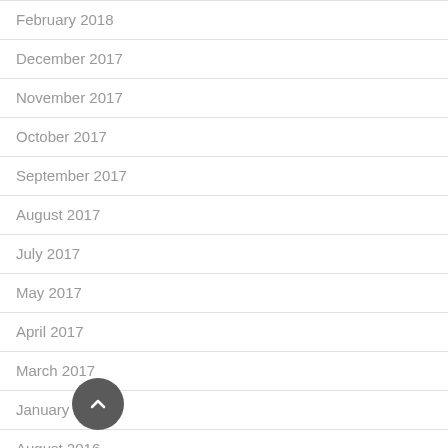February 2018
December 2017
November 2017
October 2017
September 2017
August 2017
July 2017
May 2017
April 2017
March 2017
January 2017
August 2016
May 2016